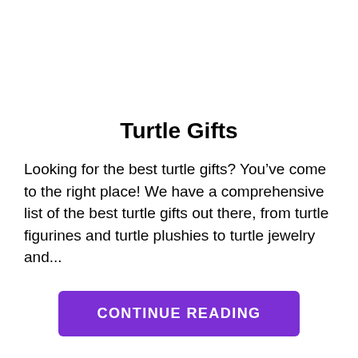Turtle Gifts
Looking for the best turtle gifts? You’ve come to the right place! We have a comprehensive list of the best turtle gifts out there, from turtle figurines and turtle plushies to turtle jewelry and...
CONTINUE READING